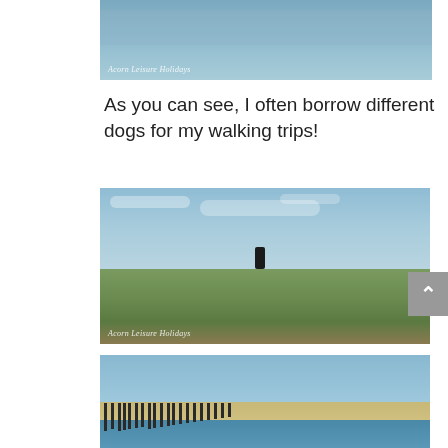[Figure (photo): Partial view of water/sea scene with 'Acorn Leisure Holidays' watermark at bottom left]
As you can see, I often borrow different dogs for my walking trips!
[Figure (photo): Dog standing on rocky, mossy shoreline with blue sky and clouds in background. 'Acorn Leisure Holidays' watermark at bottom left.]
[Figure (photo): Estuary or harbour scene with wooden posts/groynes in water, sandy bank, blue sky. Partially cropped at bottom of page.]